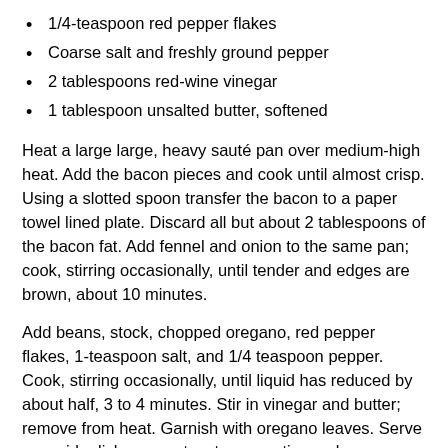1/4-teaspoon red pepper flakes
Coarse salt and freshly ground pepper
2 tablespoons red-wine vinegar
1 tablespoon unsalted butter, softened
Heat a large large, heavy sauté pan over medium-high heat. Add the bacon pieces and cook until almost crisp. Using a slotted spoon transfer the bacon to a paper towel lined plate. Discard all but about 2 tablespoons of the bacon fat. Add fennel and onion to the same pan; cook, stirring occasionally, until tender and edges are brown, about 10 minutes.
Add beans, stock, chopped oregano, red pepper flakes, 1-teaspoon salt, and 1/4 teaspoon pepper. Cook, stirring occasionally, until liquid has reduced by about half, 3 to 4 minutes. Stir in vinegar and butter; remove from heat. Garnish with oregano leaves. Serve as a side dish or over toast as a rustic meal.